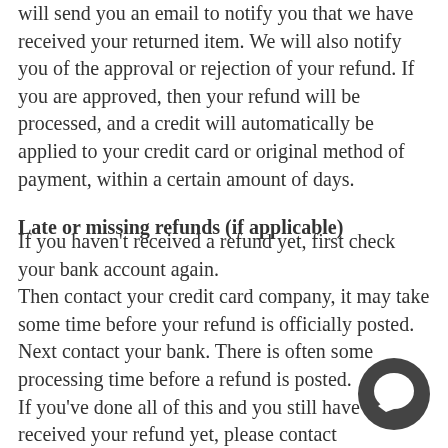will send you an email to notify you that we have received your returned item. We will also notify you of the approval or rejection of your refund. If you are approved, then your refund will be processed, and a credit will automatically be applied to your credit card or original method of payment, within a certain amount of days.
Late or missing refunds (if applicable)
If you haven't received a refund yet, first check your bank account again.
Then contact your credit card company, it may take some time before your refund is officially posted.
Next contact your bank. There is often some processing time before a refund is posted.
If you've done all of this and you still have not received your refund yet, please contact info@alberthern.com